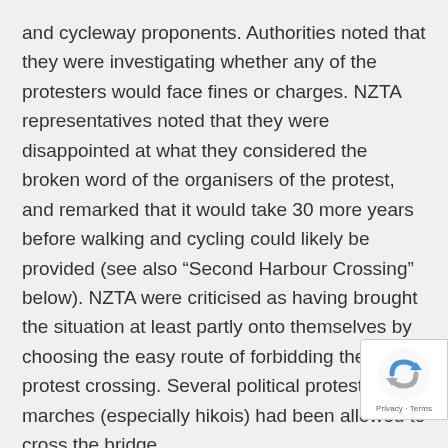and cycleway proponents. Authorities noted that they were investigating whether any of the protesters would face fines or charges. NZTA representatives noted that they were disappointed at what they considered the broken word of the organisers of the protest, and remarked that it would take 30 more years before walking and cycling could likely be provided (see also “Second Harbour Crossing” below). NZTA were criticised as having brought the situation at least partly onto themselves by choosing the easy route of forbidding the protest crossing. Several political protest marches (especially hikois) had been allowed to cross the bridge.
[Figure (other): Google reCAPTCHA badge with Privacy and Terms link]